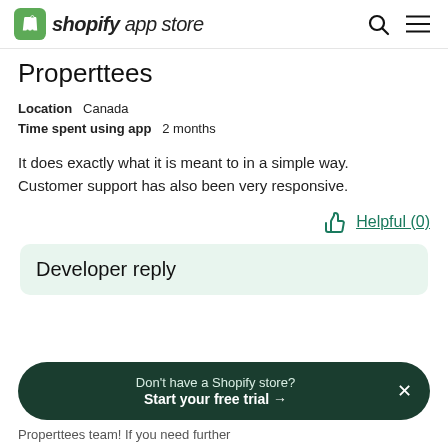shopify app store
Properttees
Location   Canada
Time spent using app   2 months
It does exactly what it is meant to in a simple way. Customer support has also been very responsive.
Helpful (0)
Developer reply
Don't have a Shopify store?
Start your free trial →
Properttees team! If you need further